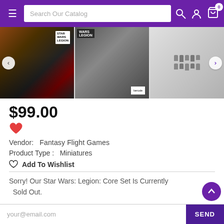Search Our Catalog
[Figure (screenshot): Product image carousel showing Star Wars Legion Core Set box front, box back, and miniatures figures]
$99.00
Vendor:   Fantasy Flight Games
Product Type :   Miniatures
Add To Wishlist
Sorry! Our Star Wars: Legion: Core Set Is Currently Sold Out.
your@email.com
SEND